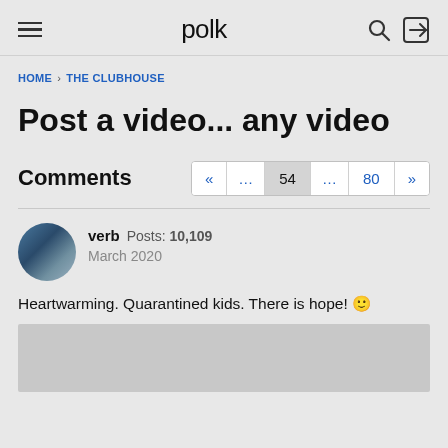polk
HOME › THE CLUBHOUSE
Post a video... any video
Comments
Pagination: « ... 54 ... 80 »
verb  Posts: 10,109  March 2020
Heartwarming. Quarantined kids. There is hope! 🙂
[Figure (other): Video embed placeholder (gray rectangle)]